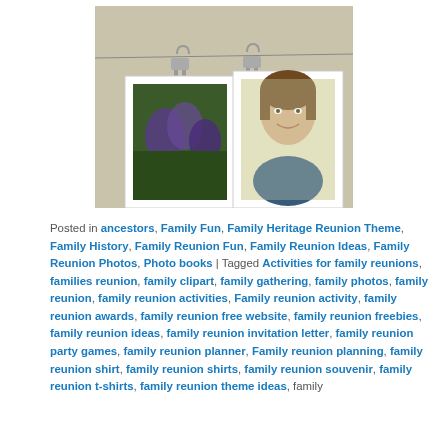[Figure (photo): Photo of picture frames hanging on a wire with metal clips attached to a wall. Frames contain a portrait of a woman and a landscape floral image.]
Posted in ancestors, Family Fun, Family Heritage Reunion Theme, Family History, Family Reunion Fun, Family Reunion Ideas, Family Reunion Photos, Photo books | Tagged Activities for family reunions, families reunion, family clipart, family gathering, family photos, family reunion, family reunion activities, Family reunion activity, family reunion awards, family reunion free website, family reunion freebies, family reunion ideas, family reunion invitation letter, family reunion party games, family reunion planner, Family reunion planning, family reunion shirt, family reunion shirts, family reunion souvenir, family reunion t-shirts, family reunion theme ideas, family